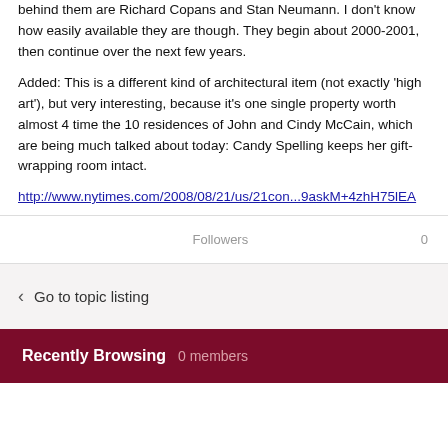behind them are Richard Copans and Stan Neumann. I don't know how easily available they are though. They begin about 2000-2001, then continue over the next few years.
Added: This is a different kind of architectural item (not exactly 'high art'), but very interesting, because it's one single property worth almost 4 time the 10 residences of John and Cindy McCain, which are being much talked about today: Candy Spelling keeps her gift-wrapping room intact.
http://www.nytimes.com/2008/08/21/us/21con...9askM+4zhH75lEA
Followers 0
Go to topic listing
Recently Browsing 0 members